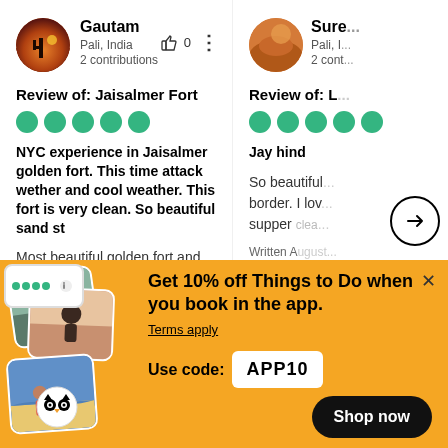[Figure (screenshot): TripAdvisor review page showing two reviews side by side. Left: Gautam from Pali, India, 2 contributions, review of Jaisalmer Fort, 5 green dots, bold title and body text. Right: partial review by Sure... from Pali, I..., 2 cont..., Review of: L..., 5 green dots, Jay hind title. Arrow circle navigation. Bottom: yellow promotional banner for 10% off with APP10 code.]
Gautam
Pali, India
2 contributions
👍 0
Sure...
Pali, I...
2 cont...
Review of: Jaisalmer Fort
Review of: L...
NYC experience in Jaisalmer golden fort. This time attack wether and cool weather. This fort is very clean. So beautiful sand st
Most beautiful golden fort and golden sand stone is very nyc and golden stone hand art by hand so beautiful I am visiting again
Jay hind
So beautiful... border. I lov... supper clea...
Written August...
Get 10% off Things to Do when you book in the app.
Terms apply
Use code: APP10
Shop now